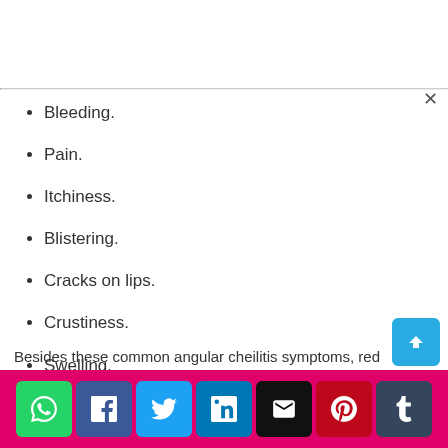Bleeding.
Pain.
Itchiness.
Blistering.
Cracks on lips.
Crustiness.
Swelling.
Redness.
Besides these common angular cheilitis symptoms, red